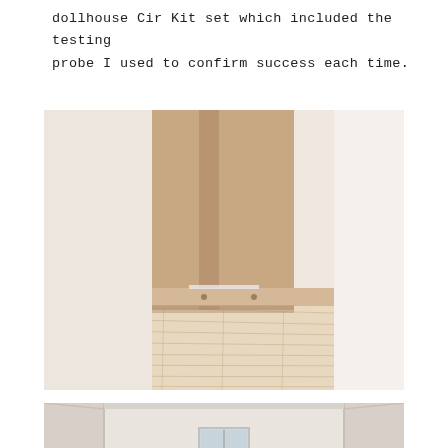dollhouse Cir Kit set which included the testing probe I used to confirm success each time.
[Figure (photo): Close-up photograph of the base/floor of a dollhouse showing MDF/wood panel walls meeting the floor, with wood-plank flooring and white baseboard trim. A thin wire or tape is visible running along the baseboard.]
[Figure (photo): Interior view of a dollhouse room showing white painted walls meeting at a corner, with a small window visible and decorative molding/trim details.]